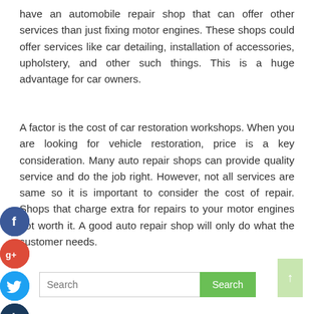have an automobile repair shop that can offer other services than just fixing motor engines. These shops could offer services like car detailing, installation of accessories, upholstery, and other such things. This is a huge advantage for car owners.
A factor is the cost of car restoration workshops. When you are looking for vehicle restoration, price is a key consideration. Many auto repair shops can provide quality service and do the job right. However, not all services are same so it is important to consider the cost of repair. Shops that charge extra for repairs to your motor engines not worth it. A good auto repair shop will only do what the customer needs.
[Figure (other): Social media sharing icons: Facebook (blue circle with f), Google+ (red circle with g+), Twitter (blue circle with bird), and a dark blue circle with plus sign]
[Figure (other): Search bar with placeholder text 'Search', a green Search button, and a light green scroll-to-top arrow button]